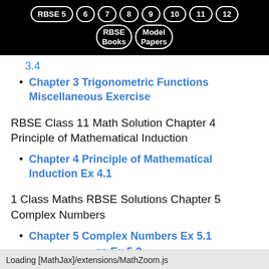RBSE 5  6  7  8  9  10  11  12  RBSE Books  Model Papers
3.4
Chapter 3 Trigonometric Functions Miscellaneous Exercise
RBSE Class 11 Math Solution Chapter 4 Principle of Mathematical Induction
Chapter 4 Principle of Mathematical Induction Ex 4.1
1 Class Maths RBSE Solutions Chapter 5 Complex Numbers
Chapter 5 Complex Numbers Ex 5.1
Chapter 5 Complex Numbers Ex 5.2
Loading [MathJax]/extensions/MathZoom.js